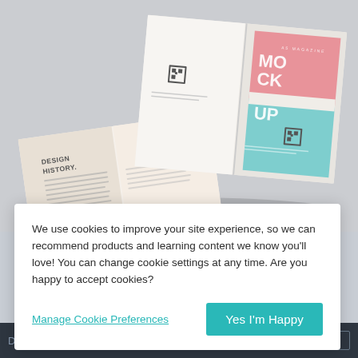[Figure (photo): A magazine mockup photo showing open A5 magazines with pastel covers. One cover features 'A5 MAGAZINE MOCKUP' text in teal and pink color blocks. Another open spread shows 'DESIGN HISTORY' text with body copy columns on a cream/peach background. The scene is photographed on a light gray surface.]
We use cookies to improve your site experience, so we can recommend products and learning content we know you'll love! You can change cookie settings at any time. Are you happy to accept cookies?
Manage Cookie Preferences
Yes I'm Happy
Description placed: 21:14 (12:15 EST)    TOP